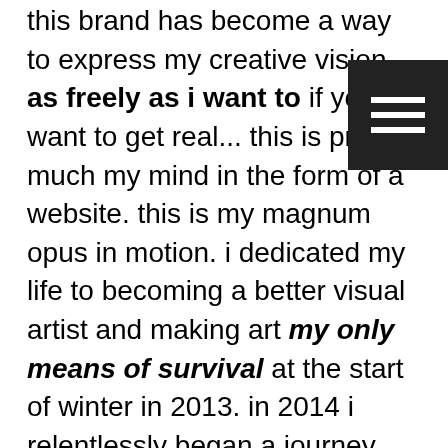this brand has become a way to express my creative vision as freely as i want to if you want to get real... this is pretty much my mind in the form of a website. this is my magnum opus in motion. i dedicated my life to becoming a better visual artist and making art my only means of survival at the start of winter in 2013. in 2014 i relentlessly began a journey into the depths of artistic mastery. in the fall of 2015 i created Cvlt Aesthetics. this all came about from a personal understanding of my role in the world i live in – in relation to the community/realm around me.

as time went on, people began to notice
[Figure (other): Hamburger menu icon — three white horizontal bars on a dark/black square background, positioned in the upper-right corner of the page.]